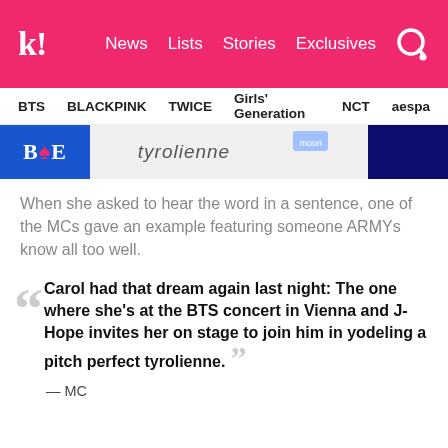k! News Lists Stories Exclusives
BTS BLACKPINK TWICE Girls' Generation NCT aespa
[Figure (photo): Screenshot of a game show interface showing the word 'tyrolienne' on screen]
When she asked to hear the word in a sentence, one of the MCs gave an example featuring someone ARMYs know all too well.
Carol had that dream again last night: The one where she's at the BTS concert in Vienna and J-Hope invites her on stage to join him in yodeling a pitch perfect tyrolienne.
— MC